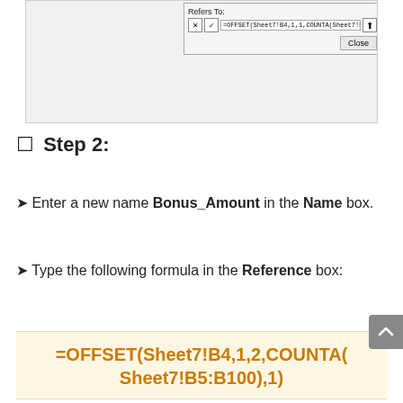[Figure (screenshot): Screenshot of a dialog box showing 'Refers to:' label with a formula input field containing '=OFFSET(Sheet7!B4,1,1,COUNTA(Sheet7!B5:B100),1)' and control buttons (X, checkmark, arrow up), plus a 'Close' button.]
☐ Step 2:
➤ Enter a new name Bonus_Amount in the Name box.
➤ Type the following formula in the Reference box:
=OFFSET(Sheet7!B4,1,2,COUNTA(Sheet7!B5:B100),1)